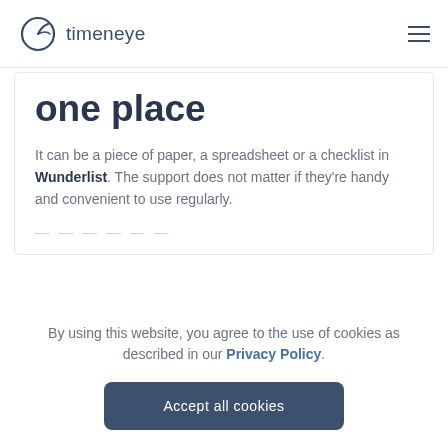timeneye
one place
It can be a piece of paper, a spreadsheet or a checklist in Wunderlist. The support does not matter if they're handy and convenient to use regularly.
By using this website, you agree to the use of cookies as described in our Privacy Policy.
Accept all cookies